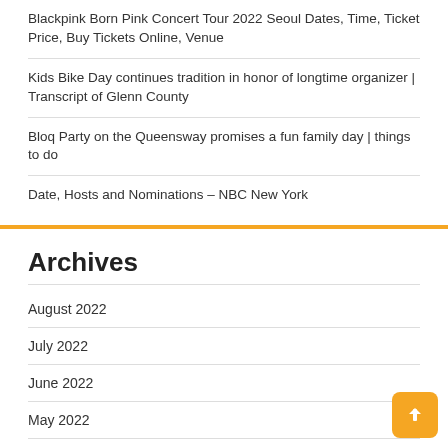Blackpink Born Pink Concert Tour 2022 Seoul Dates, Time, Ticket Price, Buy Tickets Online, Venue
Kids Bike Day continues tradition in honor of longtime organizer | Transcript of Glenn County
Bloq Party on the Queensway promises a fun family day | things to do
Date, Hosts and Nominations – NBC New York
Archives
August 2022
July 2022
June 2022
May 2022
April 2022
March 2022